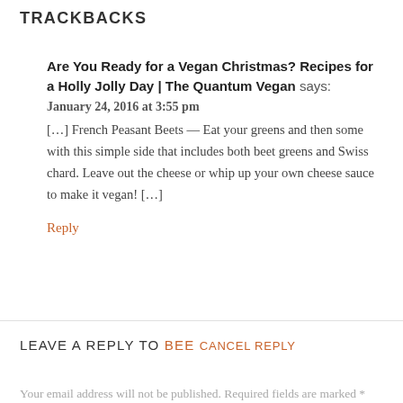TRACKBACKS
Are You Ready for a Vegan Christmas? Recipes for a Holly Jolly Day | The Quantum Vegan says:
January 24, 2016 at 3:55 pm
[…] French Peasant Beets — Eat your greens and then some with this simple side that includes both beet greens and Swiss chard. Leave out the cheese or whip up your own cheese sauce to make it vegan! […]
Reply
LEAVE A REPLY TO BEE CANCEL REPLY
Your email address will not be published. Required fields are marked *